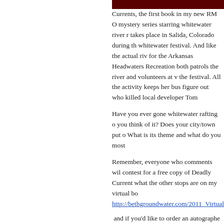[Figure (photo): Dark red/maroon banner or header image strip at top right of page]
Currents, the first book in my new RM O mystery series starring whitewater river r takes place in Salida, Colorado during th whitewater festival. And like the actual riv for the Arkansas Headwaters Recreation both patrols the river and volunteers at v the festival. All the activity keeps her bus figure out who killed local developer Tom
Have you ever gone whitewater rafting o you think of it? Does your city/town put o What is its theme and what do you most
Remember, everyone who comments wil contest for a free copy of Deadly Current what the other stops are on my virtual bo http://bethgroundwater.com/2011_Virtual
and if you'd like to order an autographe Currents, go to the website for Black Cat http://manitoubooks.com/ and click on "C the phone number or fill out the form with information.